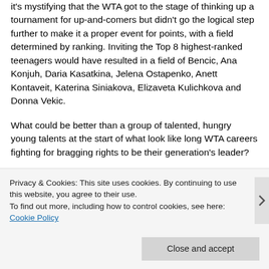it's mystifying that the WTA got to the stage of thinking up a tournament for up-and-comers but didn't go the logical step further to make it a proper event for points, with a field determined by ranking. Inviting the Top 8 highest-ranked teenagers would have resulted in a field of Bencic, Ana Konjuh, Daria Kasatkina, Jelena Ostapenko, Anett Kontaveit, Katerina Siniakova, Elizaveta Kulichkova and Donna Vekic.
What could be better than a group of talented, hungry young talents at the start of what look like long WTA careers fighting for bragging rights to be their generation's leader?
Privacy & Cookies: This site uses cookies. By continuing to use this website, you agree to their use.
To find out more, including how to control cookies, see here: Cookie Policy